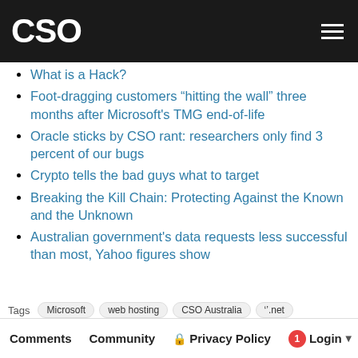CSO
What is a Hack?
Foot-dragging customers “hitting the wall” three months after Microsoft's TMG end-of-life
Oracle sticks by CSO rant: researchers only find 3 percent of our bugs
Crypto tells the bad guys what to target
Breaking the Kill Chain: Protecting Against the Known and the Unknown
Australian government's data requests less successful than most, Yahoo figures show
Tags: Microsoft  web hosting  CSO Australia  ''.net  Key Vault  '.com  CloudHSM  ''.co  ''.org  ''.us'  DMCA takedown
Comments  Community  Privacy Policy  1  Login